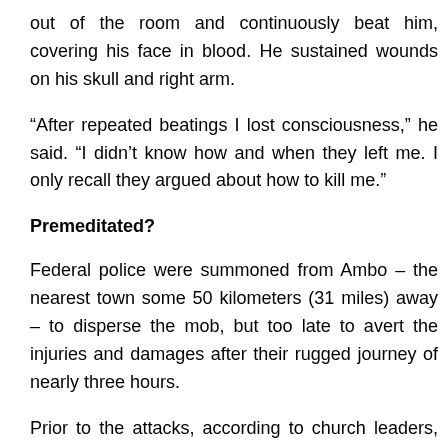out of the room and continuously beat him, covering his face in blood. He sustained wounds on his skull and right arm.
“After repeated beatings I lost consciousness,” he said. “I didn’t know how and when they left me. I only recall they argued about how to kill me.”
Premeditated?
Federal police were summoned from Ambo – the nearest town some 50 kilometers (31 miles) away – to disperse the mob, but too late to avert the injuries and damages after their rugged journey of nearly three hours.
Prior to the attacks, according to church leaders, there was no substantial build-up of tension between the two groups, though EOC priests had expressed anger about